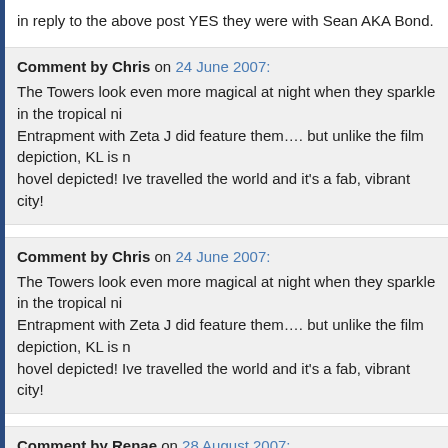in reply to the above post YES they were with Sean AKA Bond.
Comment by Chris on 24 June 2007: The Towers look even more magical at night when they sparkle in the tropical ni... Entrapment with Zeta J did feature them…. but unlike the film depiction, KL is n... hovel depicted! Ive travelled the world and it's a fab, vibrant city!
Comment by Chris on 24 June 2007: The Towers look even more magical at night when they sparkle in the tropical ni... Entrapment with Zeta J did feature them…. but unlike the film depiction, KL is n... hovel depicted! Ive travelled the world and it's a fab, vibrant city!
Comment by Renae on 28 August 2007: i'm doing a project on the petronas towers and i was wondering if i could please... information on them. Like, why did they build them ? how they construced them... thanks ! The buildings are really amazing
Comment by Renae on 28 August 2007: i'm doing a project on the petronas towers and i was wondering if i could please... information on them. Like, why did they build them ? how they construced them... thanks ! The buildings are really amazing